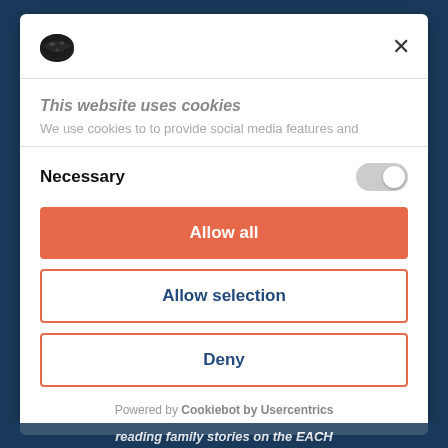[Figure (logo): Cookiebot logo icon — dark oval/cookie shape]
×
This website uses cookies
We use cookies to to provide social media features and
Necessary
Allow all
Allow selection
Deny
Powered by Cookiebot by Usercentrics
reading family stories on the EACH